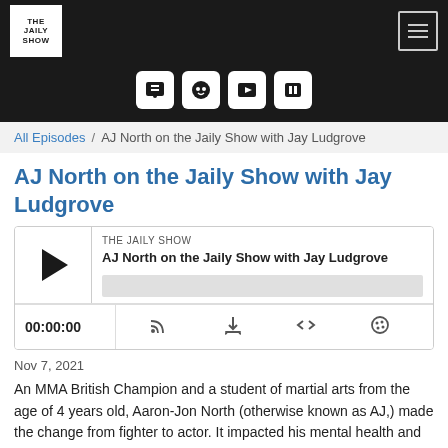[Figure (screenshot): Navigation bar with The Jaily Show logo and hamburger menu on dark background]
[Figure (screenshot): Dark banner strip with podcast platform icons (iTunes, Spotify, YouTube, Stitcher)]
All Episodes / AJ North on the Jaily Show with Jay Ludgrove
AJ North on the Jaily Show with Jay Ludgrove
[Figure (screenshot): Podcast audio player showing THE JAILY SHOW, episode title AJ North on the Jaily Show with Jay Ludgrove, play button, progress bar, time 00:00:00, and control icons]
Nov 7, 2021
An MMA British Champion and a student of martial arts from the age of 4 years old, Aaron-Jon North (otherwise known as AJ,) made the change from fighter to actor. It impacted his mental health and changed the way he viewed the world.